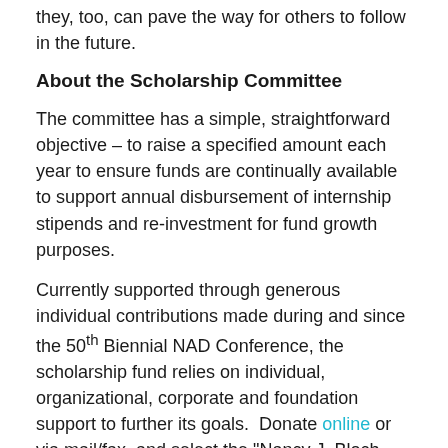they, too, can pave the way for others to follow in the future.
About the Scholarship Committee
The committee has a simple, straightforward objective – to raise a specified amount each year to ensure funds are continually available to support annual disbursement of internship stipends and re-investment for fund growth purposes.
Currently supported through generous individual contributions made during and since the 50th Biennial NAD Conference, the scholarship fund relies on individual, organizational, corporate and foundation support to further its goals. Donate online or via mail/fax, and select the "Nancy J. Bloch Leadership & Advocacy Scholarship Fund" in the Donor Designation section to ensure that your contribution is directed appropriately.